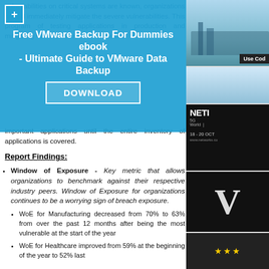vulnerabilities on critical systems are known, organizations should immediately mitigate the severe vulnerabilities. This program of testing applications in production and mitigating vulnerabilities in a risk-based manner should then be extended to the next tier of important applications until the entire inventory of applications is covered.
Report Findings:
Window of Exposure - Key metric that allows organizations to benchmark against their respective industry peers. Window of Exposure for organizations continues to be a worrying sign of breach exposure.
WoE for Manufacturing decreased from 70% to 63% from over the past 12 months after being the most vulnerable at the start of the year
WoE for Healthcare improved from 59% at the beginning of the year to 52% last